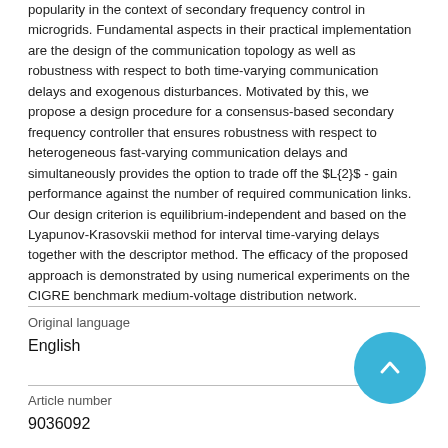popularity in the context of secondary frequency control in microgrids. Fundamental aspects in their practical implementation are the design of the communication topology as well as robustness with respect to both time-varying communication delays and exogenous disturbances. Motivated by this, we propose a design procedure for a consensus-based secondary frequency controller that ensures robustness with respect to heterogeneous fast-varying communication delays and simultaneously provides the option to trade off the $L{2}$ - gain performance against the number of required communication links. Our design criterion is equilibrium-independent and based on the Lyapunov-Krasovskii method for interval time-varying delays together with the descriptor method. The efficacy of the proposed approach is demonstrated by using numerical experiments on the CIGRE benchmark medium-voltage distribution network.
Original language
English
Article number
9036092